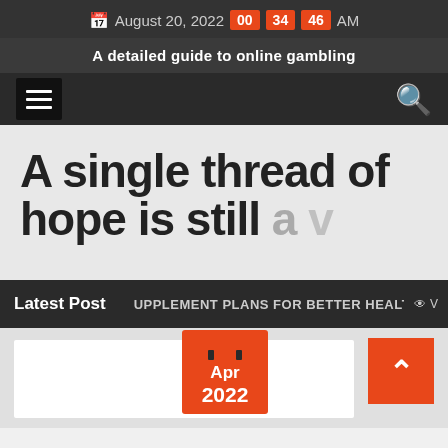August 20, 2022 00 34 46 AM
A detailed guide to online gambling
A single thread of hope is still a v
Latest Post   UPPLEMENT PLANS FOR BETTER HEALTH
[Figure (other): Calendar icon showing Apr 2022 and a back-to-top orange button with up arrow]